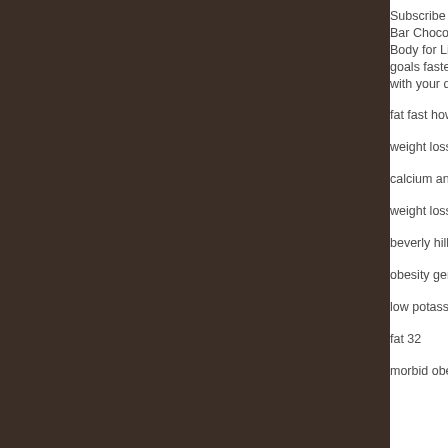Subscribe to food ... Bar Chocolate Pea... Body for Life Body... goals faster. when... with your diet.
fat fast how to do
weight loss suplem...
calcium and weigh...
weight loss after qu...
beverly hills diet ins...
obesity genes rese...
low potassium diet
fat 32
morbid obesity sup...